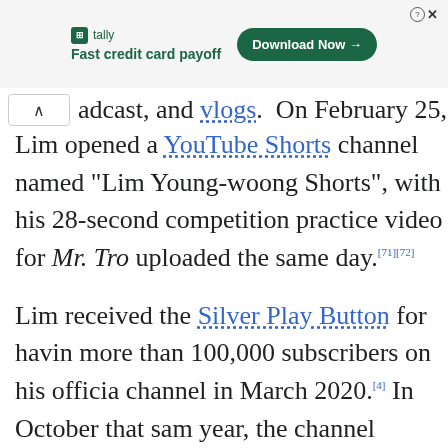[Figure (screenshot): Advertisement banner for Tally app — Fast credit card payoff, with Download Now button]
adcast, and vlogs. On February 25, 2021, Lim opened a YouTube Shorts channel named "Lim Young-woong Shorts", with his 28-second competition practice video for Mr. Tro uploaded the same day.[71][72]
Lim received the Silver Play Button for having more than 100,000 subscribers on his official channel in March 2020.[4] In October that same year, the channel surpassed one million